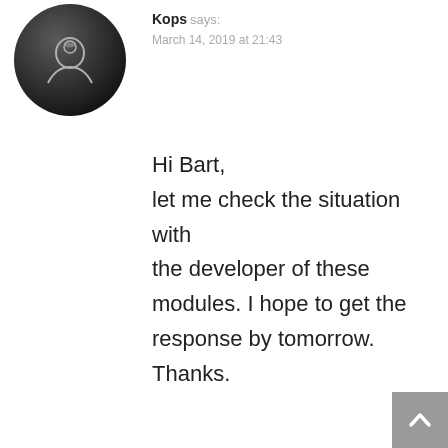[Figure (illustration): Circular avatar icon with dark background showing a human head silhouette profile]
Kops says:
March 14, 2019 at 21:43
Hi Bart,
let me check the situation with the developer of these modules. I hope to get the response by tomorrow. Thanks.
Reply
[Figure (illustration): Circular avatar icon with dark background showing a human head silhouette profile (smaller, indented)]
Kops says:
March 15, 2019 at 11:17
Hi Bart,